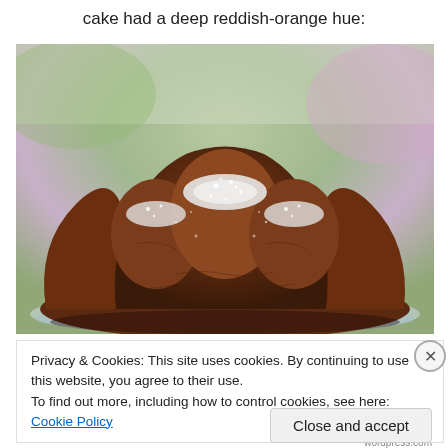cake had a deep reddish-orange hue:
[Figure (photo): A bundt cake dusted with powdered sugar, photographed close-up on a glass plate with a blurred colorful background.]
Privacy & Cookies: This site uses cookies. By continuing to use this website, you agree to their use.
To find out more, including how to control cookies, see here: Cookie Policy
Close and accept